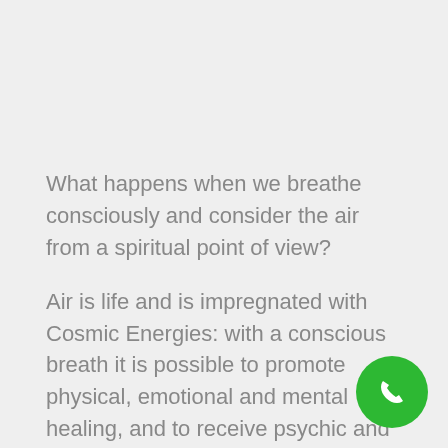What happens when we breathe consciously and consider the air from a spiritual point of view?
Air is life and is impregnated with Cosmic Energies: with a conscious breath it is possible to promote physical, emotional and mental healing, and to receive psychic and spiritual nourishment.
In this book Peter Deunov reveals the secrets of deep breathing, offering multiple information physiological, energetic and spiritual level, and
[Figure (illustration): Green circular phone/call button icon in the bottom-right corner]